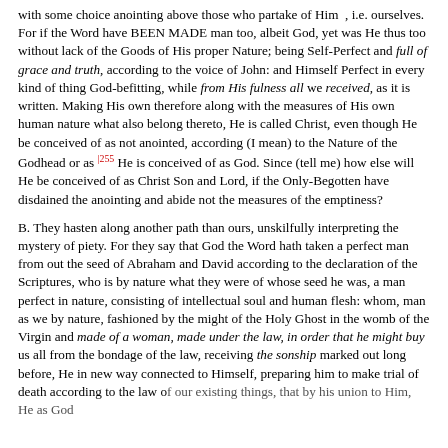with some choice anointing above those who partake of Him, i.e. ourselves. For if the Word have BEEN MADE man too, albeit God, yet was He thus too without lack of the Goods of His proper Nature; being Self-Perfect and full of grace and truth, according to the voice of John: and Himself Perfect in every kind of thing God-befitting, while from His fulness all we received, as it is written. Making His own therefore along with the measures of His own human nature what also belong thereto, He is called Christ, even though He be conceived of as not anointed, according (I mean) to the Nature of the Godhead or as [255] He is conceived of as God. Since (tell me) how else will He be conceived of as Christ Son and Lord, if the Only-Begotten have disdained the anointing and abide not the measures of the emptiness?
B. They hasten along another path than ours, unskilfully interpreting the mystery of piety. For they say that God the Word hath taken a perfect man from out the seed of Abraham and David according to the declaration of the Scriptures, who is by nature what they were of whose seed he was, a man perfect in nature, consisting of intellectual soul and human flesh: whom, man as we by nature, fashioned by the might of the Holy Ghost in the womb of the Virgin and made of a woman, made under the law, in order that he might buy us all from the bondage of the law, receiving the sonship marked out long before, He in new way connected to Himself, preparing him to make trial of death according to the law of our existing things, that by his union to Him, He as God...